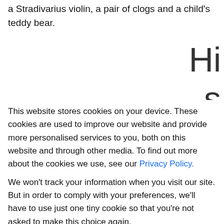a Stradivarius violin, a pair of clogs and a child's teddy bear.
His photographic
This website stores cookies on your device. These cookies are used to improve our website and provide more personalised services to you, both on this website and through other media. To find out more about the cookies we use, see our Privacy Policy.
We won't track your information when you visit our site. But in order to comply with your preferences, we'll have to use just one tiny cookie so that you're not asked to make this choice again.
Accept